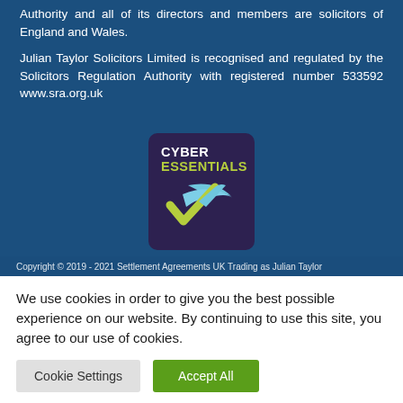Authority and all of its directors and members are solicitors of England and Wales.
Julian Taylor Solicitors Limited is recognised and regulated by the Solicitors Regulation Authority with registered number 533592 www.sra.org.uk
[Figure (logo): Cyber Essentials certification badge — dark purple rounded square with 'CYBER ESSENTIALS' text in white and green, and a blue/green checkmark graphic below.]
Copyright © 2019 - 2021 Settlement Agreements UK Trading as Julian Taylor
We use cookies in order to give you the best possible experience on our website. By continuing to use this site, you agree to our use of cookies.
Cookie Settings  Accept All